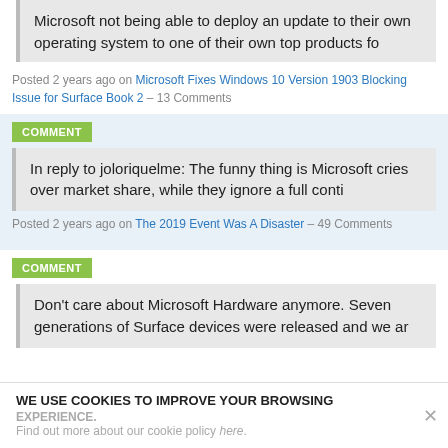Microsoft not being able to deploy an update to their own operating system to one of their own top products fo
Posted 2 years ago on Microsoft Fixes Windows 10 Version 1903 Blocking Issue for Surface Book 2 – 13 Comments
COMMENT
In reply to joloriquelme: The funny thing is Microsoft cries over market share, while they ignore a full conti
Posted 2 years ago on The 2019 Event Was A Disaster – 49 Comments
COMMENT
Don't care about Microsoft Hardware anymore. Seven generations of Surface devices were released and we ar
WE USE COOKIES TO IMPROVE YOUR BROWSING EXPERIENCE.
Find out more about our cookie policy here.